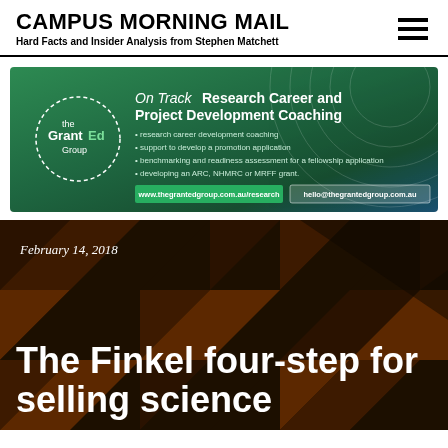CAMPUS MORNING MAIL
Hard Facts and Insider Analysis from Stephen Matchett
[Figure (illustration): GrantEd Group advertisement banner with green gradient background. Logo shows 'the GrantEd Group' in a circular dotted border. Headline: 'On Track Research Career and Project Development Coaching'. Bullet points listing services. Website and email contact links at bottom.]
February 14, 2018
The Finkel four-step for selling science